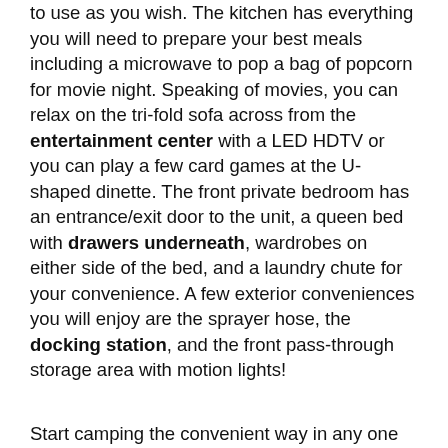to use as you wish. The kitchen has everything you will need to prepare your best meals including a microwave to pop a bag of popcorn for movie night. Speaking of movies, you can relax on the tri-fold sofa across from the entertainment center with a LED HDTV or you can play a few card games at the U-shaped dinette. The front private bedroom has an entrance/exit door to the unit, a queen bed with drawers underneath, wardrobes on either side of the bed, and a laundry chute for your convenience. A few exterior conveniences you will enjoy are the sprayer hose, the docking station, and the front pass-through storage area with motion lights!
Start camping the convenient way in any one of these Highland Ridge RV Mesa Ridge S-Lite travel trailers! They are lightweight but still